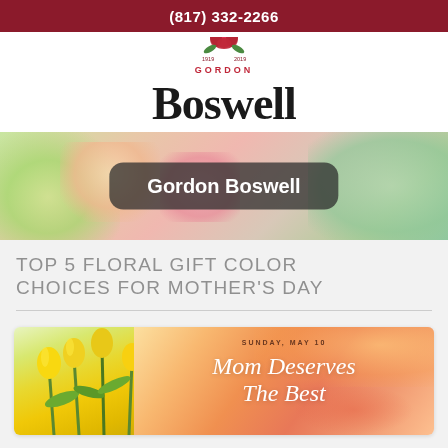(817) 332-2266
[Figure (logo): Gordon Boswell Flowers logo with rose emblem and '100 Years 1919-2019' text]
[Figure (photo): Colorful floral arrangement banner with 'Gordon Boswell' text overlay on dark rounded rectangle]
TOP 5 FLORAL GIFT COLOR CHOICES FOR MOTHER'S DAY
[Figure (photo): Mother's Day promotional image with yellow tulips on left and watercolor peach/orange background on right with script text 'Mom Deserves The Best' and date 'Sunday, May 10']